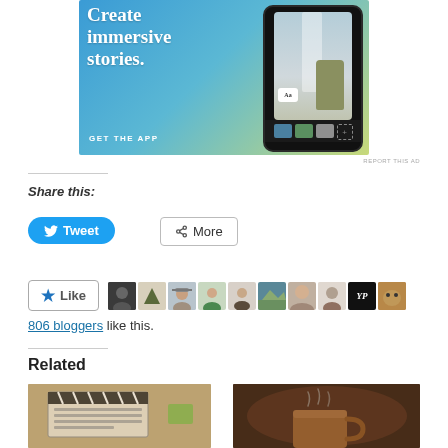[Figure (photo): Advertisement banner: 'Create immersive stories. GET THE APP' with phone mockup showing a person near a waterfall, gradient blue-green-yellow background]
REPORT THIS AD
Share this:
[Figure (screenshot): Tweet button (blue rounded rectangle with Twitter bird icon)]
[Figure (screenshot): More button (white rectangle with share icon)]
[Figure (screenshot): Like button with star icon, followed by a row of 10 blogger avatar thumbnails]
806 bloggers like this.
Related
[Figure (photo): Related article image: film clapper board on a table]
[Figure (photo): Related article image: person holding a warm drink/mug with steam]